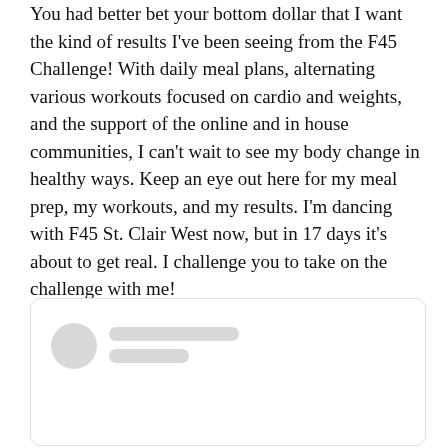You had better bet your bottom dollar that I want the kind of results I've been seeing from the F45 Challenge! With daily meal plans, alternating various workouts focused on cardio and weights, and the support of the online and in house communities, I can't wait to see my body change in healthy ways. Keep an eye out here for my meal prep, my workouts, and my results. I'm dancing with F45 St. Clair West now, but in 17 days it's about to get real. I challenge you to take on the challenge with me!
[Figure (screenshot): A social media post card placeholder with a circular avatar, a long placeholder bar and a shorter bar representing user name and handle, with empty content area below.]